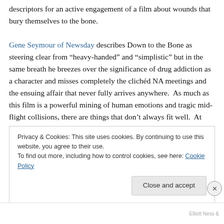descriptors for an active engagement of a film about wounds that bury themselves to the bone.
Gene Seymour of Newsday describes Down to the Bone as steering clear from “heavy-handed” and “simplistic” but in the same breath he breezes over the significance of drug addiction as a character and misses completely the clichéd NA meetings and the ensuing affair that never fully arrives anywhere.  As much as this film is a powerful mining of human emotions and tragic mid-flight collisions, there are things that don’t always fit well.  At times the film seems more like a picture puzzle picked up a rummage
Privacy & Cookies: This site uses cookies. By continuing to use this website, you agree to their use.
To find out more, including how to control cookies, see here: Cookie Policy
Close and accept